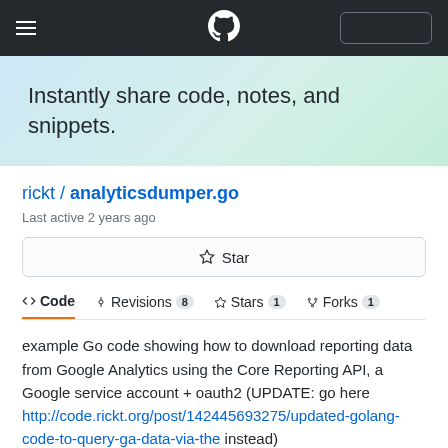GitHub navigation header with hamburger menu, GitHub logo, and sign-in button
Instantly share code, notes, and snippets.
rickt / analyticsdumper.go
Last active 2 years ago
⭐ Star
<> Code   -o- Revisions 8   ☆ Stars 1   ⑂ Forks 1
example Go code showing how to download reporting data from Google Analytics using the Core Reporting API, a Google service account + oauth2 (UPDATE: go here http://code.rickt.org/post/142445693275/updated-golang-code-to-query-ga-data-via-the instead)